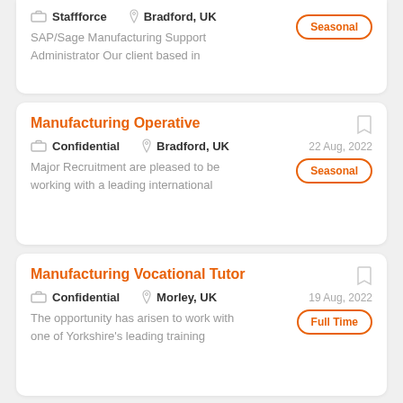Staffforce | Bradford, UK | Seasonal | SAP/Sage Manufacturing Support Administrator Our client based in
Manufacturing Operative
Confidential | Bradford, UK | 22 Aug, 2022 | Seasonal | Major Recruitment are pleased to be working with a leading international
Manufacturing Vocational Tutor
Confidential | Morley, UK | 19 Aug, 2022 | Full Time | The opportunity has arisen to work with one of Yorkshire's leading training